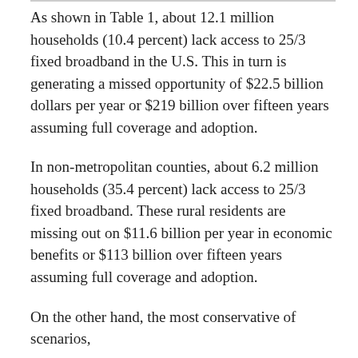As shown in Table 1, about 12.1 million households (10.4 percent) lack access to 25/3 fixed broadband in the U.S. This in turn is generating a missed opportunity of $22.5 billion dollars per year or $219 billion over fifteen years assuming full coverage and adoption.
In non-metropolitan counties, about 6.2 million households (35.4 percent) lack access to 25/3 fixed broadband. These rural residents are missing out on $11.6 billion per year in economic benefits or $113 billion over fifteen years assuming full coverage and adoption.
On the other hand, the most conservative of scenarios,